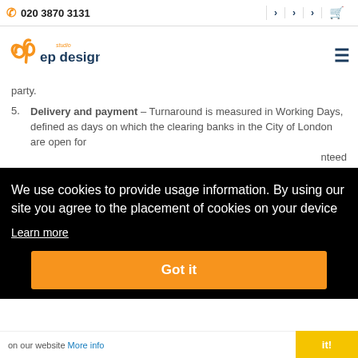020 3870 3131
[Figure (logo): EP Design Studio logo — orange cursive mark with dark blue 'ep design' text and orange 'studio' word]
party.
5. Delivery and payment – Turnaround is measured in Working Days, defined as days on which the clearing banks in the City of London are open for [business. Turnaround times are not guar]nteed [and artwork/files are required ]to be [receiv]ed in [less th]an [specifi]ed [timeframes ]within
We use cookies to provide usage information. By using our site you agree to the placement of cookies on your device
Learn more
Got it
on our website More info